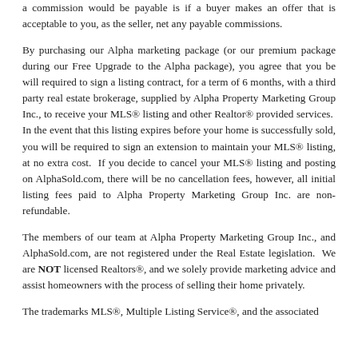a commission would be payable is if a buyer makes an offer that is acceptable to you, as the seller, net any payable commissions.
By purchasing our Alpha marketing package (or our premium package during our Free Upgrade to the Alpha package), you agree that you be will required to sign a listing contract, for a term of 6 months, with a third party real estate brokerage, supplied by Alpha Property Marketing Group Inc., to receive your MLS® listing and other Realtor® provided services.  In the event that this listing expires before your home is successfully sold, you will be required to sign an extension to maintain your MLS® listing, at no extra cost.  If you decide to cancel your MLS® listing and posting on AlphaSold.com, there will be no cancellation fees, however, all initial listing fees paid to Alpha Property Marketing Group Inc. are non-refundable.
The members of our team at Alpha Property Marketing Group Inc., and AlphaSold.com, are not registered under the Real Estate legislation.  We are NOT licensed Realtors®, and we solely provide marketing advice and assist homeowners with the process of selling their home privately.
The trademarks MLS®, Multiple Listing Service®, and the associated